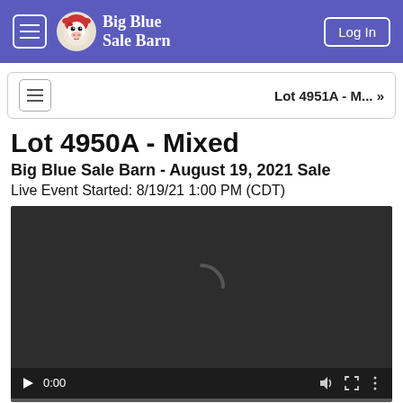Big Blue Sale Barn — navigation bar with hamburger menu and Log In button
Lot 4951A - M... »
Lot 4950A - Mixed
Big Blue Sale Barn - August 19, 2021 Sale
Live Event Started: 8/19/21 1:00 PM (CDT)
[Figure (screenshot): Dark video player with loading spinner arc and playback controls showing 0:00 timecode, volume, fullscreen, and options icons at bottom.]